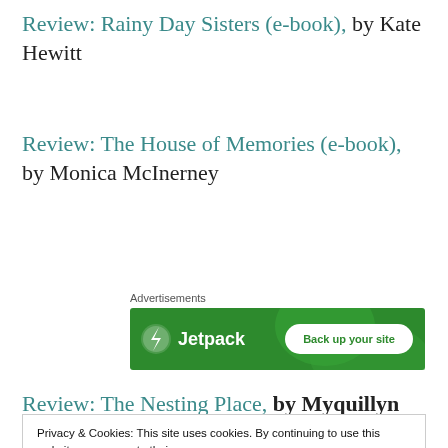Review: Rainy Day Sisters (e-book), by Kate Hewitt
Review: The House of Memories (e-book), by Monica McInerney
[Figure (other): Jetpack advertisement banner with green background, Jetpack logo and 'Back up your site' button]
Review: The Nesting Place, by Myquillyn
Privacy & Cookies: This site uses cookies. By continuing to use this website, you agree to their use.
To find out more, including how to control cookies, see here: Cookie Policy
Close and accept